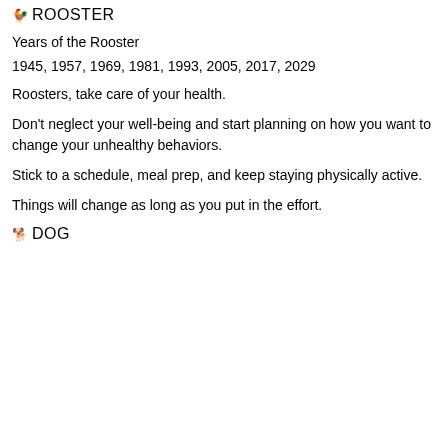🐓 ROOSTER
Years of the Rooster
1945, 1957, 1969, 1981, 1993, 2005, 2017, 2029
Roosters, take care of your health.
Don't neglect your well-being and start planning on how you want to change your unhealthy behaviors.
Stick to a schedule, meal prep, and keep staying physically active.
Things will change as long as you put in the effort.
🐕 DOG